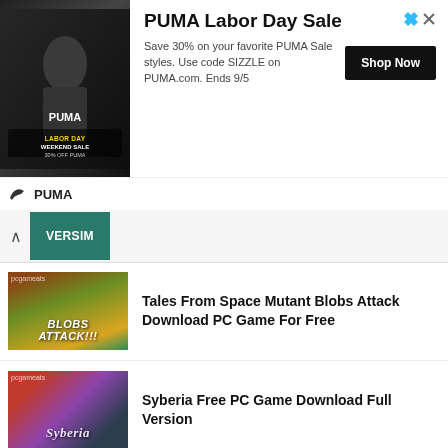[Figure (screenshot): PUMA Labor Day Sale advertisement banner with product image on the left showing a person wearing PUMA gear with 'LABOR DAY WEEKEND SALE' text, PUMA logo at bottom left, ad title 'PUMA Labor Day Sale', body text 'Save 30% on your favorite PUMA Sale styles. Use code SIZZLE on PUMA.com. Ends 9/5', and a 'Shop Now' button]
[Figure (screenshot): Website navigation bar with up chevron and a teal/green 'VERSIM' tab]
[Figure (screenshot): Thumbnail image for Tales From Space Mutant Blobs Attack game]
Tales From Space Mutant Blobs Attack Download PC Game For Free
[Figure (screenshot): Thumbnail image for Syberia game]
Syberia Free PC Game Download Full Version
[Figure (screenshot): Thumbnail image for Stationeers PC game]
Stationeers PC Game Download Full Version
[Figure (screenshot): Thumbnail image for Sudden Strike Resource War game]
Sudden Strike Resource War Download PC Game For Free